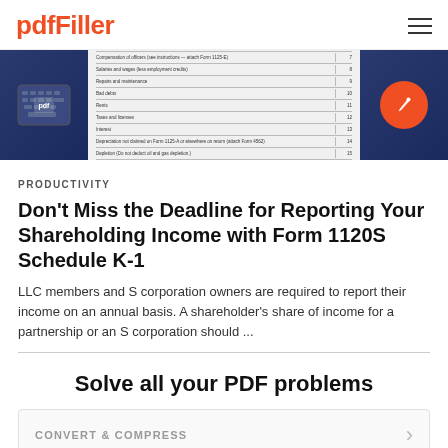pdfFiller
[Figure (screenshot): Screenshot of a tax form (Form 1120S Schedule K-1) shown in the pdfFiller editor, flanked by images of a laptop keyboard on the left and a hand using a stylus on the right.]
PRODUCTIVITY
Don't Miss the Deadline for Reporting Your Shareholding Income with Form 1120S Schedule K-1
LLC members and S corporation owners are required to report their income on an annual basis. A shareholder's share of income for a partnership or an S corporation should ...
Solve all your PDF problems
CONVERT & COMPRESS